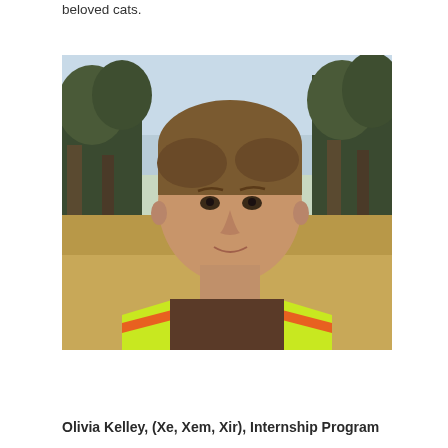beloved cats.
[Figure (photo): Portrait photo of a person with short brown hair, wearing a bright yellow/green high-visibility safety vest with orange stripes, standing outdoors in front of trees and a field.]
Olivia Kelley, (Xe, Xem, Xir), Internship Program